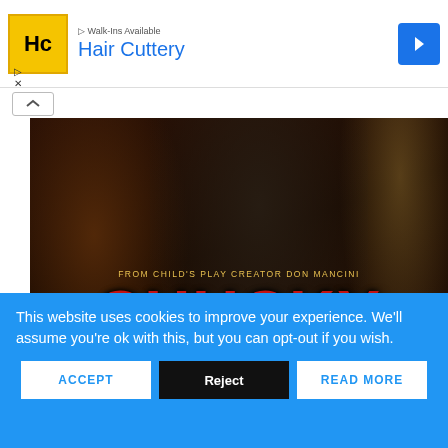[Figure (screenshot): Advertisement banner for Hair Cuttery with yellow logo, company name in blue, navigation arrow icon]
[Figure (photo): Promotional image for Chucky TV series on USA Network and SYFY. Shows characters in dark clothing. Text reads: FROM CHILD'S PLAY CREATOR DON MANCINI, CHUCKY, SERIES PREMIERE OCTOBER 12, USA SYFY]
RELATED TOPICS: #BRAD DOURIF #CHILD'S PLAY #CHUCKY #DON MANCINI
This website uses cookies to improve your experience. We'll assume you're ok with this, but you can opt-out if you wish.